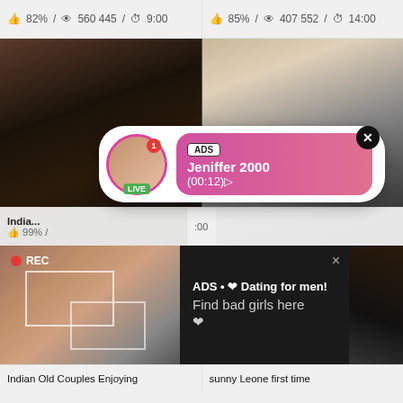82% / 560 445 / 9:00
85% / 407 552 / 14:00
[Figure (photo): Video thumbnail showing two people, dark background]
[Figure (photo): Video thumbnail showing person in white shirt]
[Figure (infographic): ADS popup: Jeniffer 2000 LIVE notification with pink gradient, (00:12) timestamp]
India... 99% /
[Figure (infographic): ADS Dating popup with REC indicator and photo thumbnail, dark background. Text: ADS • Dating for men! Find bad girls here]
Indian Old Couples Enjoying
sunny Leone first time